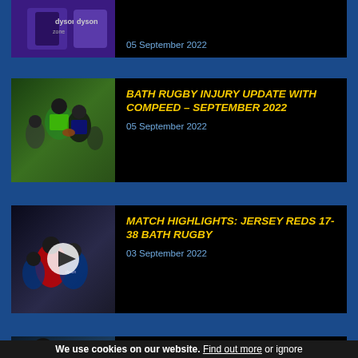[Figure (screenshot): Cropped top card with Dyson Zone product image and date 05 September 2022]
05 September 2022
[Figure (photo): Rugby players training in green bibs on grass field]
BATH RUGBY INJURY UPDATE WITH COMPEED - SEPTEMBER 2022
05 September 2022
[Figure (photo): Rugby match action with play button overlay - Jersey Reds vs Bath Rugby]
MATCH HIGHLIGHTS: JERSEY REDS 17-38 BATH RUGBY
03 September 2022
[Figure (photo): Rugby players celebrating - Match Report Jersey Reds vs Bath Rugby]
MATCH REPORT: JERSEY REDS 17-38 BATH RUGBY
We use cookies on our website. Find out more or ignore